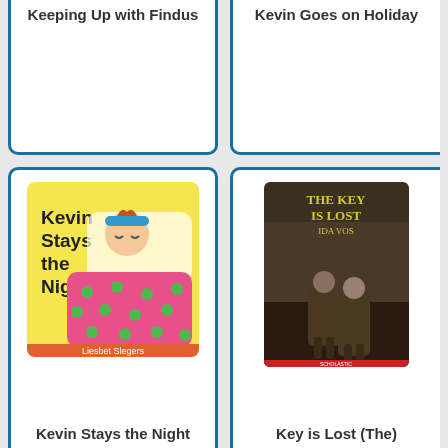[Figure (illustration): Book cover card for 'Keeping Up with Findus' - top portion of card visible]
Keeping Up with Findus
[Figure (illustration): Book cover card for 'Kevin Goes on Holiday' - top portion of card visible]
Kevin Goes on Holiday
[Figure (illustration): Book cover for 'Kevin Stays the Night' by Liesbet Slegers showing child in bed with pink spotted blanket]
Kevin Stays the Night
[Figure (illustration): Book cover for 'The Key Is Lost' by Ida Vos showing children in dark coats]
Key is Lost (The)
[Figure (illustration): Partially visible book cover with K and i letters visible, children figures]
[Figure (illustration): Partially visible book cover for 'The King and the Sea']
The King and the Sea